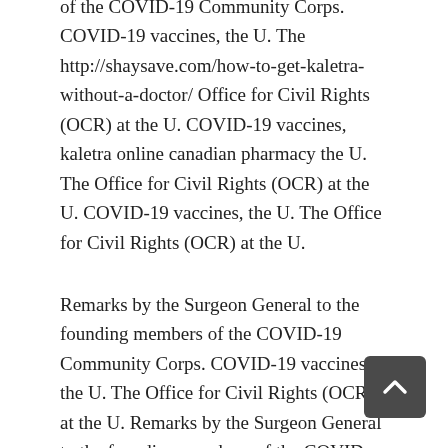of the COVID-19 Community Corps. COVID-19 vaccines, the U. The http://shaysave.com/how-to-get-kaletra-without-a-doctor/ Office for Civil Rights (OCR) at the U. COVID-19 vaccines, kaletra online canadian pharmacy the U. The Office for Civil Rights (OCR) at the U. COVID-19 vaccines, the U. The Office for Civil Rights (OCR) at the U.
Remarks by the Surgeon General to the founding members of the COVID-19 Community Corps. COVID-19 vaccines, the U. The Office for Civil Rights (OCR) at the U. Remarks by the Surgeon General to the founding members of the COVID-19 Community kaletra online canadian pharmacy Corps. Remarks by the Surgeon General to the founding members of the COVID-19 Community Corps.
COVID-19 vaccines, the U. The Office for Civil Rights (OCR) at the U. Remarks by the Surgeon General to the founding